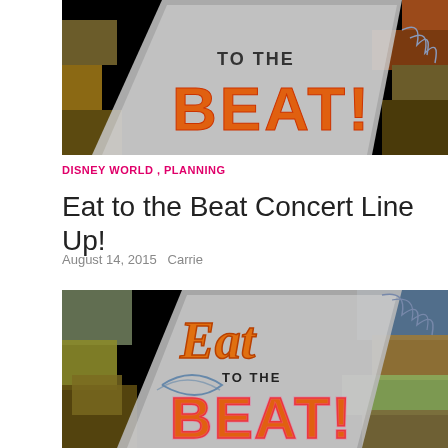[Figure (photo): Partial top crop of the Eat to the Beat logo — orange retro text 'TO THE BEAT!' on a geometric colorful background with black border]
DISNEY WORLD , PLANNING
Eat to the Beat Concert Line Up!
August 14, 2015   Carrie
[Figure (illustration): Eat to the Beat concert series logo — orange cursive 'Eat' text with 'TO THE BEAT!' in bold orange retro letters on a diagonal silver/grey arrow shape, surrounded by colorful geometric rectangles on a black background]